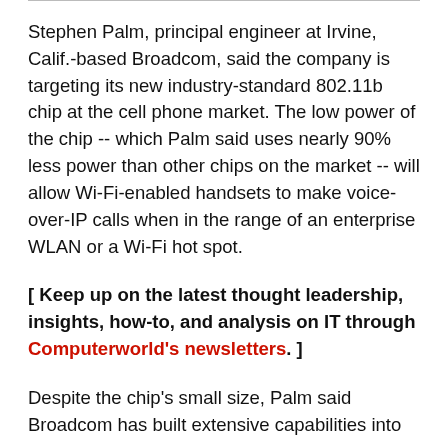Stephen Palm, principal engineer at Irvine, Calif.-based Broadcom, said the company is targeting its new industry-standard 802.11b chip at the cell phone market. The low power of the chip -- which Palm said uses nearly 90% less power than other chips on the market -- will allow Wi-Fi-enabled handsets to make voice-over-IP calls when in the range of an enterprise WLAN or a Wi-Fi hot spot.
[ Keep up on the latest thought leadership, insights, how-to, and analysis on IT through Computerworld's newsletters. ]
Despite the chip's small size, Palm said Broadcom has built extensive capabilities into